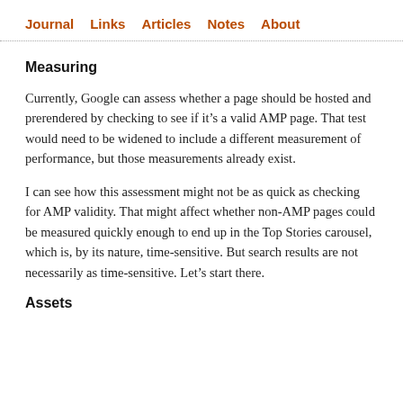Journal  Links  Articles  Notes  About
Measuring
Currently, Google can assess whether a page should be hosted and prerendered by checking to see if it’s a valid AMP page. That test would need to be widened to include a different measurement of performance, but those measurements already exist.
I can see how this assessment might not be as quick as checking for AMP validity. That might affect whether non-AMP pages could be measured quickly enough to end up in the Top Stories carousel, which is, by its nature, time-sensitive. But search results are not necessarily as time-sensitive. Let’s start there.
Assets